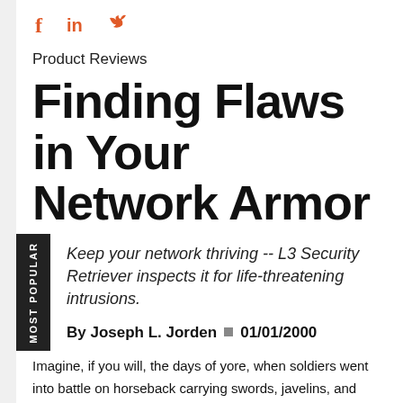[Figure (other): Social media icons: Facebook (f), LinkedIn (in), Twitter (bird)]
Product Reviews
Finding Flaws in Your Network Armor
Keep your network thriving -- L3 Security Retriever inspects it for life-threatening intrusions.
By Joseph L. Jorden  01/01/2000
Imagine, if you will, the days of yore, when soldiers went into battle on horseback carrying swords, javelins, and spears. To protect themselves from the enemies they sought to vanquish, warriors wore armor comprised of solid sheets of metal and chain mail. If a warrior's armor